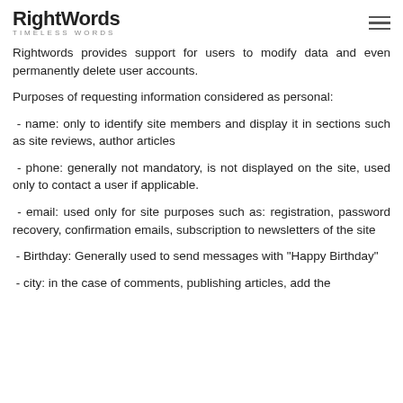RightWords TIMELESS WORDS
Rightwords provides support for users to modify data and even permanently delete user accounts.
Purposes of requesting information considered as personal:
- name: only to identify site members and display it in sections such as site reviews, author articles
- phone: generally not mandatory, is not displayed on the site, used only to contact a user if applicable.
- email: used only for site purposes such as: registration, password recovery, confirmation emails, subscription to newsletters of the site
- Birthday: Generally used to send messages with "Happy Birthday"
- city: in the case of comments, publishing articles, add the